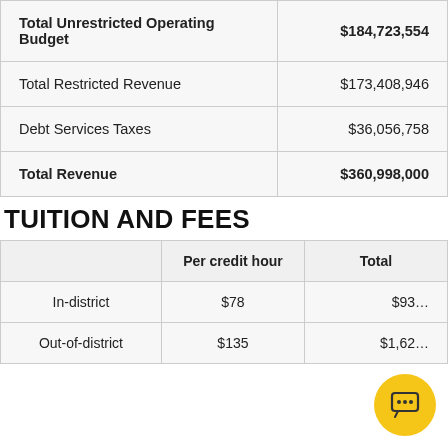|  |  |
| --- | --- |
| Total Unrestricted Operating Budget | $184,723,554 |
| Total Restricted Revenue | $173,408,946 |
| Debt Services Taxes | $36,056,758 |
| Total Revenue | $360,998,000 |
TUITION AND FEES
|  | Per credit hour | Total |
| --- | --- | --- |
| In-district | $78 | $93… |
| Out-of-district | $135 | $1,62… |